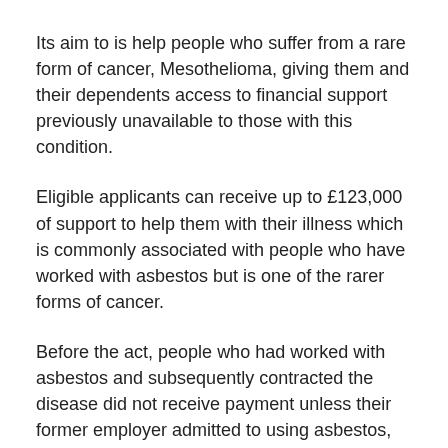Its aim to is help people who suffer from a rare form of cancer, Mesothelioma, giving them and their dependents access to financial support previously unavailable to those with this condition.
Eligible applicants can receive up to £123,000 of support to help them with their illness which is commonly associated with people who have worked with asbestos but is one of the rarer forms of cancer.
Before the act, people who had worked with asbestos and subsequently contracted the disease did not receive payment unless their former employer admitted to using asbestos, failing in their statutory duty.
From now on suffers of Mesothelioma who have not previously received support can apply to the Diffuse